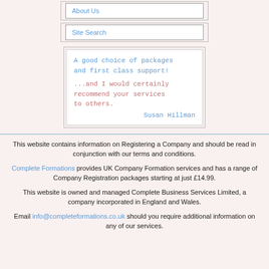About Us
Site Search
A good choice of packages and first class support! ...and I would certainly recommend your services to others. Susan Hillman
This website contains information on Registering a Company and should be read in conjunction with our terms and conditions.
Complete Formations provides UK Company Formation services and has a range of Company Registration packages starting at just £14.99.
This website is owned and managed Complete Business Services Limited, a company incorporated in England and Wales.
Email info@completeformations.co.uk should you require additional information on any of our services.